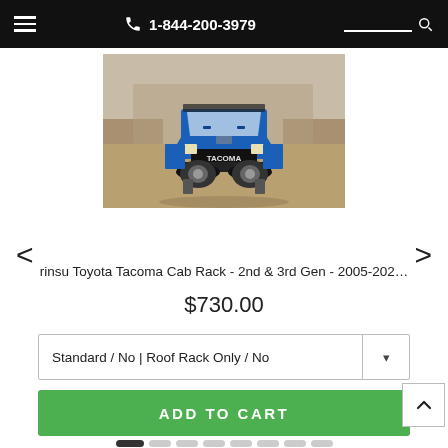1-844-200-3979
[Figure (photo): Blue Toyota Tacoma off-road truck on a trail, front view, lifted with off-road tires and accessories]
rinsu Toyota Tacoma Cab Rack - 2nd & 3rd Gen - 2005-202...
$730.00
Standard / No | Roof Rack Only / No
ADD TO CART